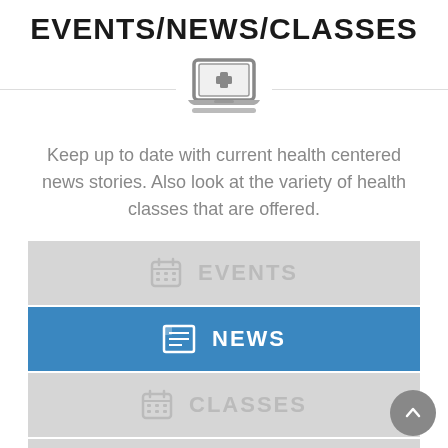EVENTS/NEWS/CLASSES
[Figure (illustration): Medical laptop icon with a plus/cross symbol on screen, grey color, centered on a white background with a thin horizontal divider line]
Keep up to date with current health centered news stories. Also look at the variety of health classes that are offered.
EVENTS
NEWS
CLASSES
NEWSLETTERS